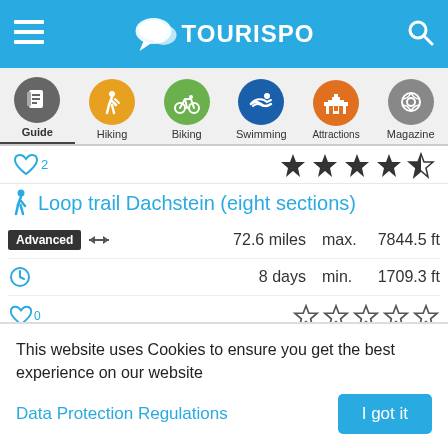TouriSpo – navigation header with hamburger menu, logo, and search icon
[Figure (screenshot): Navigation bar with category icons: Guide, Hiking, Biking, Swimming, Attractions, Magazine]
♡2  ★★★★☆
Loop trail Dachstein (eight sections)
Advanced  ↔  72.6 miles  max.  7844.5 ft
🕐  8 days  min.  1709.3 ft
♡0  ☆☆☆☆☆
Easy hike from Hüttendorf Pruggern to Lake Steirischer Bodensee
This website uses Cookies to ensure you get the best experience on our website
Data Protection Regulations
I got it